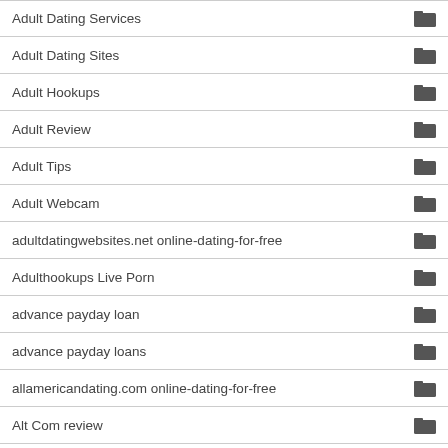Adult Dating Services
Adult Dating Sites
Adult Hookups
Adult Review
Adult Tips
Adult Webcam
adultdatingwebsites.net online-dating-for-free
Adulthookups Live Porn
advance payday loan
advance payday loans
allamericandating.com online-dating-for-free
Alt Com review
amateurmatch review